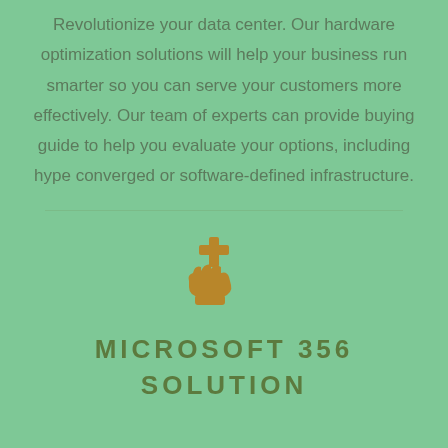Revolutionize your data center. Our hardware optimization solutions will help your business run smarter so you can serve your customers more effectively. Our team of experts can provide buying guide to help you evaluate your options, including hype converged or software-defined infrastructure.
[Figure (illustration): A golden/brown icon of a hand holding a medical cross symbol, representing healthcare or support services.]
MICROSOFT 356 SOLUTION